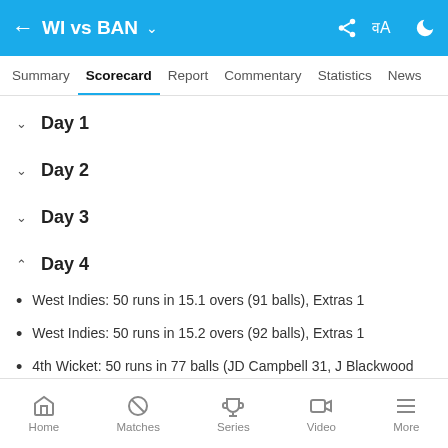WI vs BAN
Summary | Scorecard | Report | Commentary | Statistics | News
Day 1
Day 2
Day 3
Day 4
West Indies: 50 runs in 15.1 overs (91 balls), Extras 1
West Indies: 50 runs in 15.2 overs (92 balls), Extras 1
4th Wicket: 50 runs in 77 balls (JD Campbell 31, J Blackwood 20, Ex 1)
JD Campbell: 50 off 63 balls (9 x 4)
Home | Matches | Series | Video | More